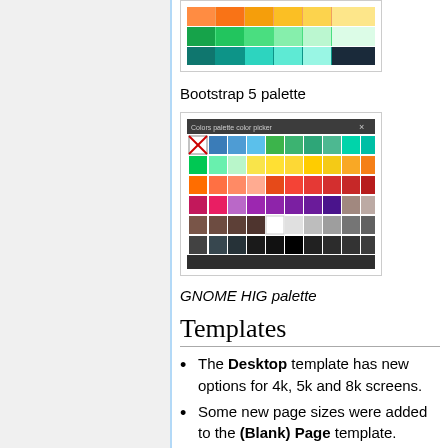[Figure (screenshot): Bootstrap 5 color palette showing rows of color swatches in orange, green, teal tones]
Bootstrap 5 palette
[Figure (screenshot): GNOME HIG palette dialog window showing a grid of color swatches including blues, greens, yellows, oranges, reds, purples, browns, whites, grays and blacks]
GNOME HIG palette
Templates
The Desktop template has new options for 4k, 5k and 8k screens.
Some new page sizes were added to the (Blank) Page template.